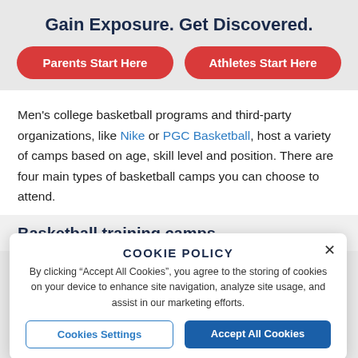Gain Exposure. Get Discovered.
Parents Start Here
Athletes Start Here
Men's college basketball programs and third-party organizations, like Nike or PGC Basketball, host a variety of camps based on age, skill level and position. There are four main types of basketball camps you can choose to attend.
Basketball training camps
COOKIE POLICY
By clicking “Accept All Cookies”, you agree to the storing of cookies on your device to enhance site navigation, analyze site usage, and assist in our marketing efforts.
Cookies Settings
Accept All Cookies